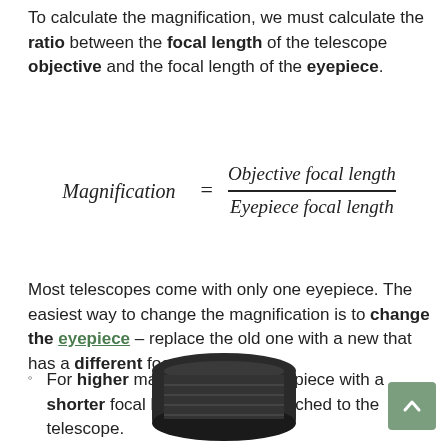To calculate the magnification, we must calculate the ratio between the focal length of the telescope objective and the focal length of the eyepiece.
Most telescopes come with only one eyepiece. The easiest way to change the magnification is to change the eyepiece – replace the old one with a new that has a different focal length.
For higher magnification, an eyepiece with a shorter focal length must be attached to the telescope.
[Figure (photo): Photograph of a telescope eyepiece (black cylindrical lens component)]